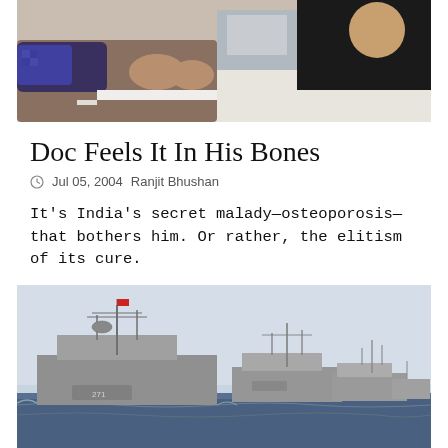[Figure (photo): Photo of a person lying down with feet visible, and another person in black sitting nearby, possibly a medical examination scene]
Doc Feels It In His Bones
Jul 05, 2004  Ranjit Bhushan
It's India's secret malady—osteoporosis—that bothers him. Or rather, the elitism of its cure.
[Figure (photo): Photo of multiple naval warships sailing in formation on the ocean, with a pale blue sky in the background]